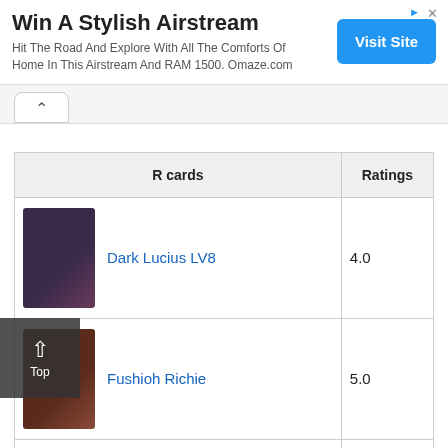[Figure (infographic): Advertisement banner: 'Win A Stylish Airstream' with blue 'Visit Site' button and ad icons]
Win A Stylish Airstream
Hit The Road And Explore With All The Comforts Of Home In This Airstream And RAM 1500. Omaze.com
| R cards | Ratings |
| --- | --- |
| Dark Lucius LV8 | 4.0 |
| Fushioh Richie | 5.0 |
| Great Dezard | 5.0 |
| (partial card visible) | (partial) |